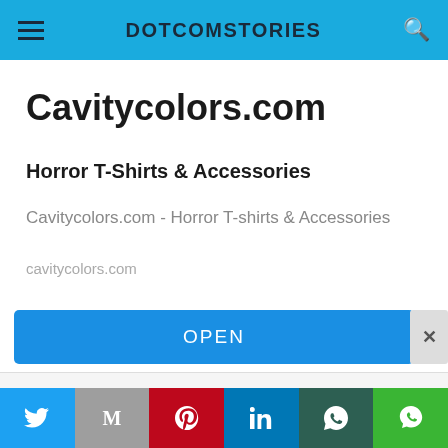DOTCOMSTORIES
Cavitycolors.com
Horror T-Shirts & Accessories
Cavitycolors.com - Horror T-shirts & Accessories
cavitycolors.com
OPEN
Halloween T-shirts
Twitter | Gmail | Pinterest | LinkedIn | WhatsApp | Line